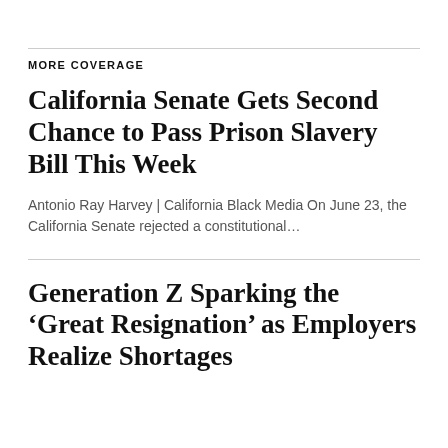MORE COVERAGE
California Senate Gets Second Chance to Pass Prison Slavery Bill This Week
Antonio Ray Harvey | California Black Media On June 23, the California Senate rejected a constitutional…
Generation Z Sparking the ‘Great Resignation’ as Employers Realize Shortages